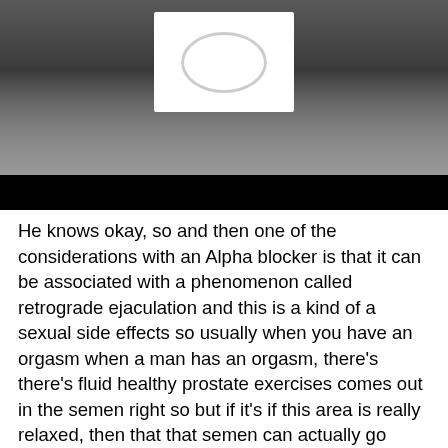[Figure (photo): Video screenshot showing a person in a dark shirt holding up a white piece of paper with an oval/circle diagram on it. A black bar appears at the bottom of the video frame.]
He knows okay, so and then one of the considerations with an Alpha blocker is that it can be associated with a phenomenon called retrograde ejaculation and this is a kind of a sexual side effects so usually when you have an orgasm when a man has an orgasm, there's there's fluid healthy prostate exercises comes out in the semen right so but if it's if this area is really relaxed, then that that semen can actually go backwards through that that prostate into the bladder.
It's nothing dangerous. That urine and semen mix and then later on you pee it, It's basically a mix of urine and sperm and semen. There are some there are some drawbacks though, and and and the side